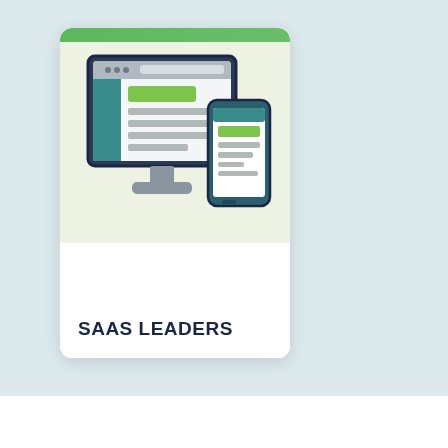[Figure (illustration): A card UI element with a green top bar, light green background, and an icon showing a desktop monitor with a browser window and a smartphone side by side, representing SaaS/web responsive design.]
SAAS LEADERS